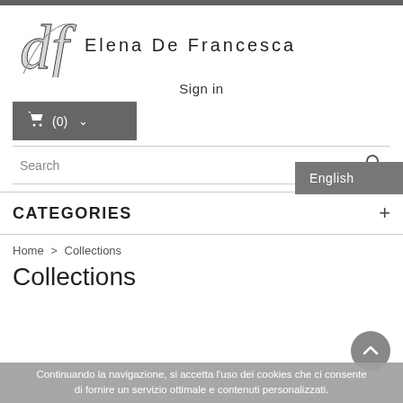[Figure (logo): Elena De Francesca brand logo with stylized script initials and spaced sans-serif text]
Sign in
[Figure (screenshot): Shopping cart button showing icon, (0) count, and dropdown arrow on dark grey background]
[Figure (screenshot): English language selector button on dark grey background]
[Figure (screenshot): Search bar with search icon]
CATEGORIES
Home > Collections
Collections
Continuando la navigazione, si accetta l'uso dei cookies che ci consente di fornire un servizio ottimale e contenuti personalizzati.